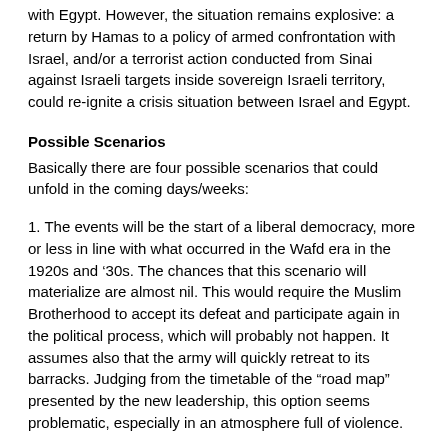with Egypt. However, the situation remains explosive: a return by Hamas to a policy of armed confrontation with Israel, and/or a terrorist action conducted from Sinai against Israeli targets inside sovereign Israeli territory, could re-ignite a crisis situation between Israel and Egypt.
Possible Scenarios
Basically there are four possible scenarios that could unfold in the coming days/weeks:
1. The events will be the start of a liberal democracy, more or less in line with what occurred in the Wafd era in the 1920s and ’30s. The chances that this scenario will materialize are almost nil. This would require the Muslim Brotherhood to accept its defeat and participate again in the political process, which will probably not happen. It assumes also that the army will quickly retreat to its barracks. Judging from the timetable of the “road map” presented by the new leadership, this option seems problematic, especially in an atmosphere full of violence.
2. The second scenario for Egypt is a harsh crackdown on the Muslim Brotherhood and Salafis by the military, followed by a bloodbath… This is the hasher s… It could become …